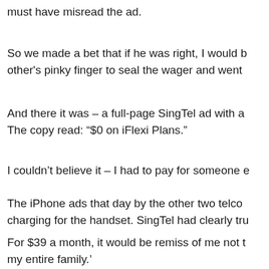must have misread the ad.
So we made a bet that if he was right, I would b other's pinky finger to seal the wager and went
And there it was – a full-page SingTel ad with a The copy read: “$0 on iFlexi Plans.”
I couldn’t believe it – I had to pay for someone e
The iPhone ads that day by the other two telco charging for the handset. SingTel had clearly tru
For $39 a month, it would be remiss of me not t my entire family.’
All of a sudden, my beloved iPod Touch, boughт